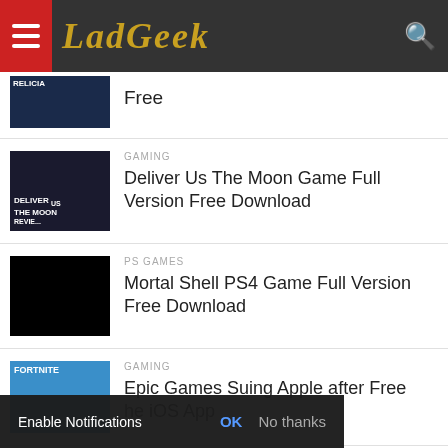LadGeek
Free
GAMING
Deliver Us The Moon Game Full Version Free Download
PS GAMES
Mortal Shell PS4 Game Full Version Free Download
GAMING
Epic Games Suing Apple after Free … the iOS App
Enable Notifications OK No thanks